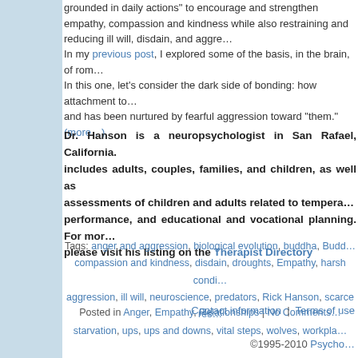grounded in daily actions" to encourage and strengthen empathy, compassion and kindness while also restraining and reducing ill will, disdain, and aggression toward "them."
In my previous post, I explored some of the basis, in the brain, of romantic bonding. In this one, let's consider the dark side of bonding: how attachment to "us" emerged and has been nurtured by fearful aggression toward "them." (more…)
Dr. Hanson is a neuropsychologist in San Rafael, California. His practice includes adults, couples, families, and children, as well as psychological assessments of children and adults related to temperament, academic performance, and educational and vocational planning. For more information, please visit his listing on the Therapist Directory
Tags: anger and aggression, biological evolution, buddha, Buddha, compassion and kindness, disdain, droughts, Empathy, harsh conditions, aggression, ill will, neuroscience, predators, Rick Hanson, scarce resources, starvation, ups, ups and downs, vital steps, wolves, workplace
Posted in Anger, Empathy, Relationships | No Comments
Contact information | Terms of use
©1995-2010 Psycho